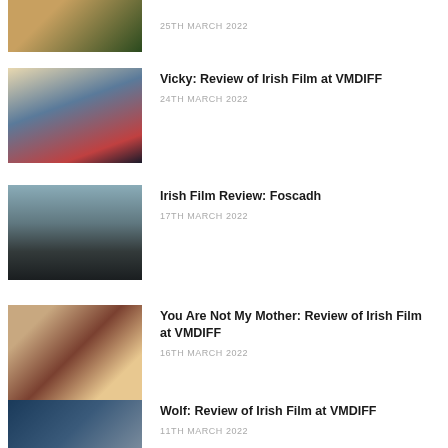[Figure (photo): Thumbnail image partially visible at top, warm orange and dark green tones]
25TH MARCH 2022
[Figure (photo): Thumbnail of a blonde woman seated at a desk, blue patterned top]
Vicky: Review of Irish Film at VMDIFF
24TH MARCH 2022
[Figure (photo): Thumbnail of a person standing by the sea, moody grey tones]
Irish Film Review: Foscadh
17TH MARCH 2022
[Figure (photo): Thumbnail of people in a warm-lit indoor scene]
You Are Not My Mother: Review of Irish Film at VMDIFF
16TH MARCH 2022
[Figure (photo): Thumbnail partially visible at bottom, dark tones]
Wolf: Review of Irish Film at VMDIFF
11TH MARCH 2022